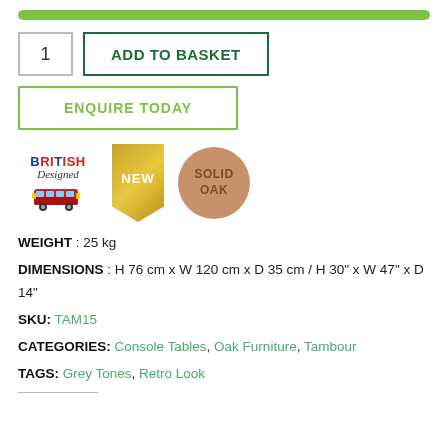[Figure (infographic): Green progress bar / availability indicator]
1  ADD TO BASKET
ENQUIRE TODAY
[Figure (infographic): Three badges: British Designed (with red bus illustration), NEW (gold pennant), SOLID OAK (copper circle)]
WEIGHT : 25 kg
DIMENSIONS : H 76 cm x W 120 cm x D 35 cm / H 30" x W 47" x D 14"
SKU: TAM15
CATEGORIES: Console Tables, Oak Furniture, Tambour
TAGS: Grey Tones, Retro Look